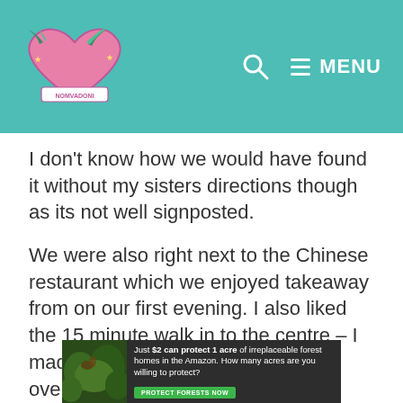MENU
I don't know how we would have found it without my sisters directions though as its not well signposted.
We were also right next to the Chinese restaurant which we enjoyed takeaway from on our first evening. I also liked the 15 minute walk in to the centre – I made my 10,000 steps a day easily over the weekend.
[Figure (infographic): Advertisement banner: forest/nature background image on left, text reading 'Just $2 can protect 1 acre of irreplaceable forest homes in the Amazon. How many acres are you willing to protect?' with a green 'PROTECT FORESTS NOW' button.]